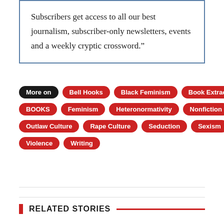Subscribers get access to all our best journalism, subscriber-only newsletters, events and a weekly cryptic crossword.”
More on
Bell Hooks
Black Feminism
Book Extract
BOOKS
Feminism
Heteronormativity
Nonfiction
Outlaw Culture
Rape Culture
Seduction
Sexism
Violence
Writing
RELATED STORIES